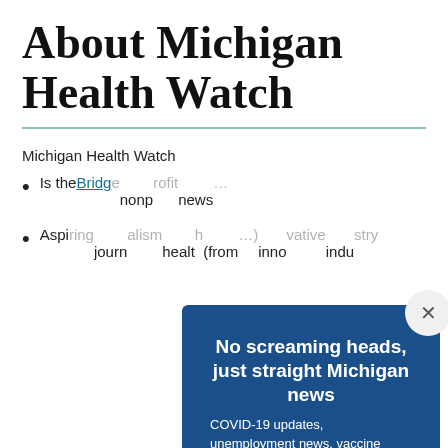About Michigan Health Watch
Michigan Health Watch
Is the … Bridge … nonprofit news…
Aspiring … journalism … health … (from … innovative … industry…
[Figure (other): Email subscription modal overlay on blue background with headline 'No screaming heads, just straight Michigan news', body text about COVID-19 updates and Michigan coverage, email input field, Subscribe button, and disclaimer text. Close button (X) in top-right corner.]